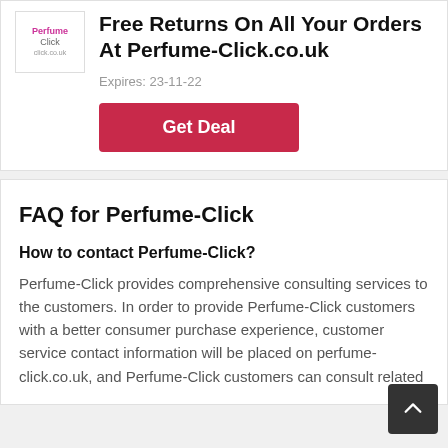[Figure (logo): Perfume-Click.co.uk logo in top left corner of deal card]
Free Returns On All Your Orders At Perfume-Click.co.uk
Expires: 23-11-22
Get Deal
FAQ for Perfume-Click
How to contact Perfume-Click?
Perfume-Click provides comprehensive consulting services to the customers. In order to provide Perfume-Click customers with a better consumer purchase experience, customer service contact information will be placed on perfume-click.co.uk, and Perfume-Click customers can consult related